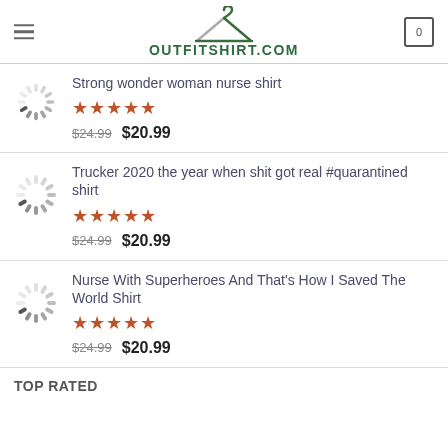OUTFITSHIRT.COM
Strong wonder woman nurse shirt | $24.99 $20.99 | 5 stars
Trucker 2020 the year when shit got real #quarantined shirt | $24.99 $20.99 | 5 stars
Nurse With Superheroes And That's How I Saved The World Shirt | $24.99 $20.99 | 5 stars
TOP RATED